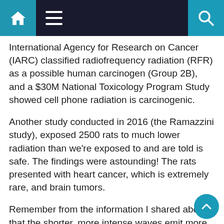Navigation bar with home, menu, and search icons
International Agency for Research on Cancer (IARC) classified radiofrequency radiation (RFR) as a possible human carcinogen (Group 2B), and a $30M National Toxicology Program Study showed cell phone radiation is carcinogenic.
Another study conducted in 2016 (the Ramazzini study), exposed 2500 rats to much lower radiation than we're exposed to and are told is safe. The findings were astounding! The rats presented with heart cancer, which is extremely rare, and brain tumors.
Remember from the information I shared above that the shorter, more intense waves emit more radiation? Well, 5G uses millimeter-wave radiation — a much smaller wave, which does not penetrate through objects well. That means instead of tall towers placed far apart, 5G will require mini